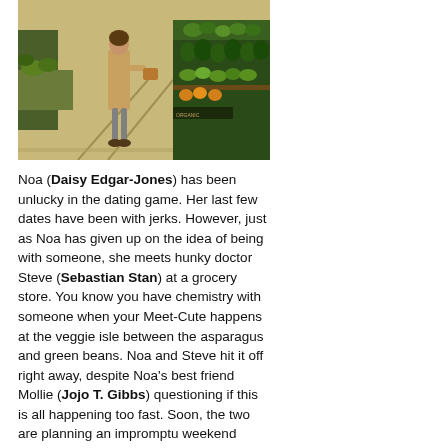[Figure (photo): A woman in a tan coat shopping in a grocery store produce section with green vegetables and fruits on display shelves.]
Noa (Daisy Edgar-Jones) has been unlucky in the dating game. Her last few dates have been with jerks. However, just as Noa has given up on the idea of being with someone, she meets hunky doctor Steve (Sebastian Stan) at a grocery store. You know you have chemistry with someone when your Meet-Cute happens at the veggie isle between the asparagus and green beans. Noa and Steve hit it off right away, despite Noa's best friend Mollie (Jojo T. Gibbs) questioning if this is all happening too fast. Soon, the two are planning an impromptu weekend getaway far outside of the city…and away from everybody else.
Sadly, this blossoming relationship